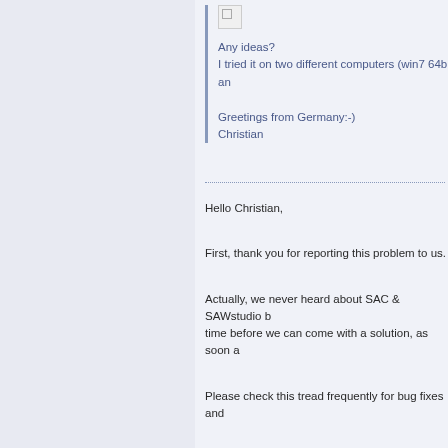[Figure (other): Broken image placeholder icon]
Any ideas?
I tried it on two different computers (win7 64bit an
Greetings from Germany:-)
Christian
Hello Christian,
First, thank you for reporting this problem to us.
Actually, we never heard about SAC & SAWstudio b time before we can come with a solution, as soon a
Please check this tread frequently for bug fixes and
Thank you for your patience,
--
Jonathan
DC Tech Support Team